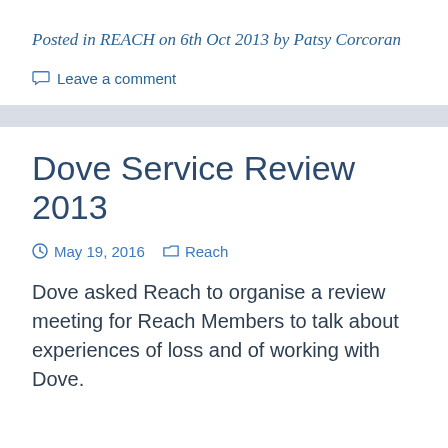Posted in REACH on 6th Oct 2013 by Patsy Corcoran
Leave a comment
Dove Service Review 2013
May 19, 2016   Reach
Dove asked Reach to organise a review meeting for Reach Members to talk about experiences of loss and of working with Dove.